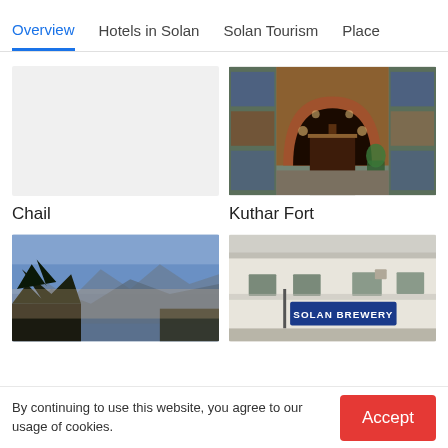Overview | Hotels in Solan | Solan Tourism | Place
[Figure (photo): Chail - light gray placeholder image with no visible content]
Chail
[Figure (photo): Kuthar Fort - ornate entrance with brick arch, stained glass decorations, wooden door, and decorative tilework]
Kuthar Fort
[Figure (photo): Mountain landscape with trees silhouetted against a blue sky and layered mountain ranges in the background]
[Figure (photo): Solan Brewery building exterior - white building with a blue sign reading SOLAN BREWERY]
By continuing to use this website, you agree to our usage of cookies.